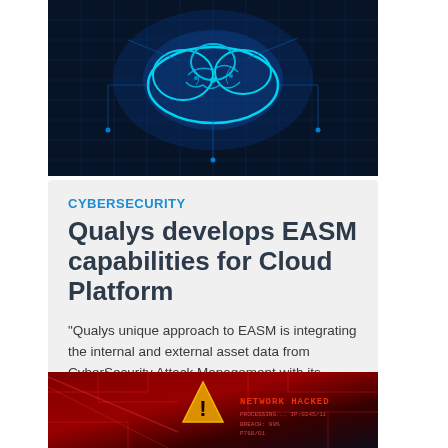[Figure (photo): Dark blue digital cloud computing visualization with glowing blue circuit patterns and brain-like cloud shape on a dark background with tech grid overlay]
CYBERSECURITY
Qualys develops EASM capabilities for Cloud Platform
"Qualys unique approach to EASM is integrating the internal and external asset data from CyberSecurity Attack Management with its VMDR solution into a single view."
[Figure (photo): Red-tinted photo of a circuit board or tech device with a warning triangle sign reading NETWORK HACKED and cascading code/text on display screens, dramatic red lighting]